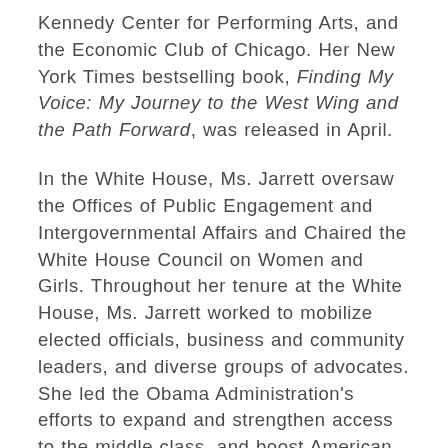Kennedy Center for Performing Arts, and the Economic Club of Chicago. Her New York Times bestselling book, Finding My Voice: My Journey to the West Wing and the Path Forward, was released in April.
In the White House, Ms. Jarrett oversaw the Offices of Public Engagement and Intergovernmental Affairs and Chaired the White House Council on Women and Girls. Throughout her tenure at the White House, Ms. Jarrett worked to mobilize elected officials, business and community leaders, and diverse groups of advocates. She led the Obama Administration's efforts to expand and strengthen access to the middle class, and boost American businesses and our economy. She championed the creation of equality and opportunity for